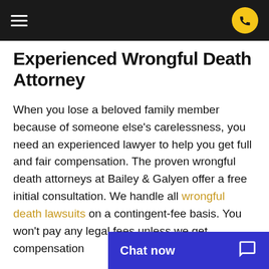[Hamburger menu] [Phone button]
Experienced Wrongful Death Attorney
When you lose a beloved family member because of someone else's carelessness, you need an experienced lawyer to help you get full and fair compensation. The proven wrongful death attorneys at Bailey & Galyen offer a free initial consultation. We handle all wrongful death lawsuits on a contingent-fee basis. You won't pay any legal fees unless we get compensation
[Figure (other): Blue chat widget bar at bottom right with 'Chat now' text and chat bubble icon]